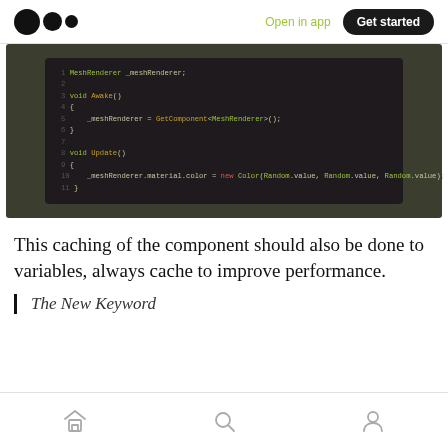Open in app  Get started
[Figure (screenshot): Code editor screenshot showing C# Unity script with MeshRenderer component caching and random color assignment in Update method]
This caching of the component should also be done to variables, always cache to improve performance.
The New Keyword
Home  Search  Profile